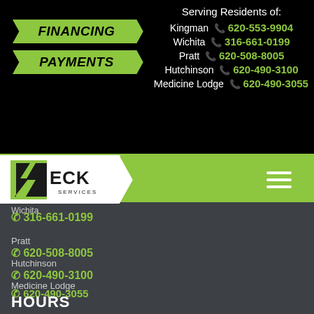[Figure (logo): FINANCING PAYMENTS badges in green on black background]
Serving Residents of:
Kingman 620-553-9904
Wichita 316-661-0199
Pratt 620-508-8005
Hutchinson 620-490-3100
Medicine Lodge 620-490-3055
[Figure (logo): ECK Services logo in white/black/green on green nav bar with hamburger menu]
Wichita
316-661-0199
Pratt
620-508-8005
Hutchinson
620-490-3100
Medicine Lodge
620-490-3055
HOURS